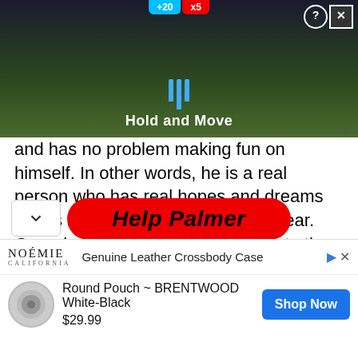[Figure (screenshot): Top advertisement banner showing a dark background with score pills (+20, x5), hold-and-move game UI with blue bar icons, 'Hold and Move' text, and close/help buttons]
and has no problem making fun on himself. In other words, he is a real person who has real hopes and dreams for his home state. The choice is clear. Georgia can either send a buffoon to the Senate who doesn't know his ass from a hole in the ground, or we can choose someone who cares about the quality of our lives.
[Figure (screenshot): Red rounded rectangle button with bold black italic text 'Help Palmer']
[Figure (screenshot): Bottom advertisement for NOÉMIE Genuine Leather Crossbody Case - Round Pouch BRENTWOOD White-Black $29.99 with Shop Now button]